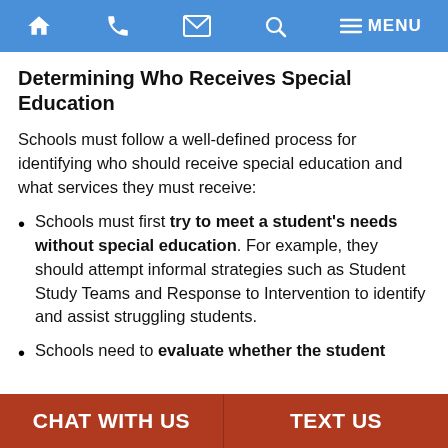Navigation bar with home, phone, email, search, and menu icons
Determining Who Receives Special Education
Schools must follow a well-defined process for identifying who should receive special education and what services they must receive:
Schools must first try to meet a student's needs without special education. For example, they should attempt informal strategies such as Student Study Teams and Response to Intervention to identify and assist struggling students.
Schools need to evaluate whether the student
CHAT WITH US | TEXT US